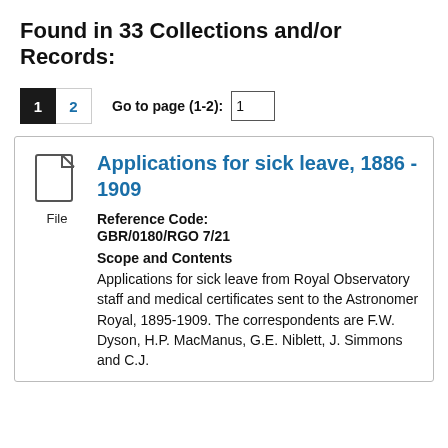Found in 33 Collections and/or Records:
1  2  Go to page (1-2): 1
Applications for sick leave, 1886 - 1909
Reference Code: GBR/0180/RGO 7/21
Scope and Contents
Applications for sick leave from Royal Observatory staff and medical certificates sent to the Astronomer Royal, 1895-1909. The correspondents are F.W. Dyson, H.P. MacManus, G.E. Niblett, J. Simmons and C.J.